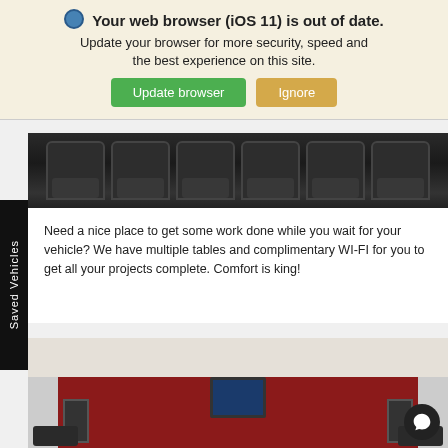[Figure (screenshot): Browser update notification banner with globe icon, bold title 'Your web browser (iOS 11) is out of date.', subtitle text, and two buttons: green 'Update browser' and tan 'Ignore']
[Figure (photo): Close-up photo of dark black leather waiting room seats/chairs viewed from behind]
Need a nice place to get some work done while you wait for your vehicle? We have multiple tables and complimentary WI-FI for you to get all your projects complete. Comfort is king!
[Figure (photo): Photo of a car dealership waiting room with red accent walls, a wall-mounted TV showing a news broadcast, dark leather sofas/chairs, white ceiling with recessed lighting, and two dark doors]